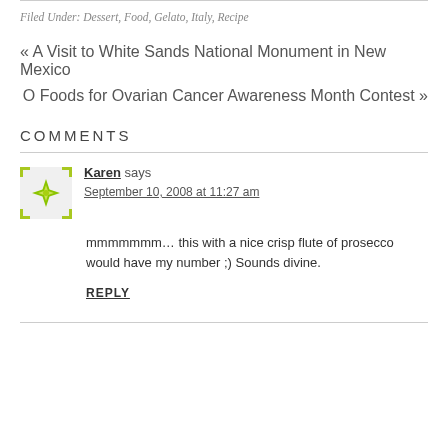Filed Under: Dessert, Food, Gelato, Italy, Recipe
« A Visit to White Sands National Monument in New Mexico
O Foods for Ovarian Cancer Awareness Month Contest »
COMMENTS
[Figure (illustration): Green decorative geometric star/snowflake avatar icon]
Karen says
September 10, 2008 at 11:27 am
mmmmmmm… this with a nice crisp flute of prosecco would have my number ;) Sounds divine.
REPLY